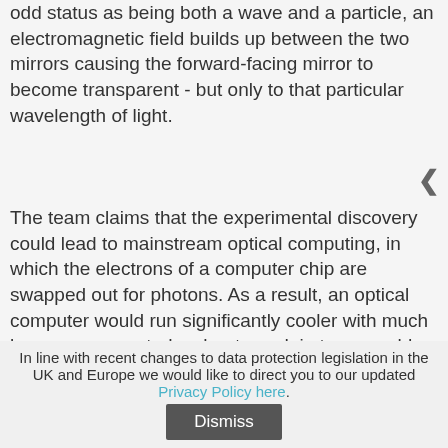odd status as being both a wave and a particle, an electromagnetic field builds up between the two mirrors causing the forward-facing mirror to become transparent - but only to that particular wavelength of light.
The team claims that the experimental discovery could lead to mainstream optical computing, in which the electrons of a computer chip are swapped out for photons. As a result, an optical computer would run significantly cooler with much less energy wasted as heat - and, in turn, would draw less power than its electronic equivalent. The system also holds promise for the growing field of quantum computing, where 'qubits' are held in superposition - being both 0 and 1 simultaneously - in order to solve problems in parallel, with photons easier to hold in superposition than electrons.
In line with recent changes to data protection legislation in the UK and Europe we would like to direct you to our updated Privacy Policy here.
Dismiss